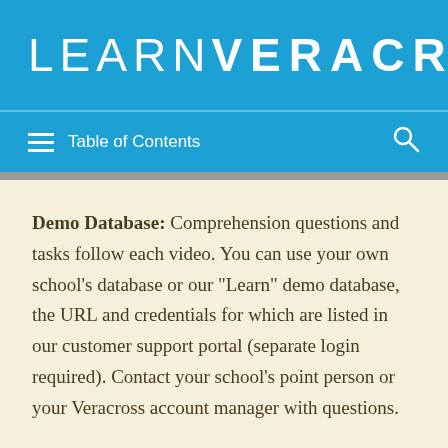LEARNVERACROSS
Table of Contents
Demo Database: Comprehension questions and tasks follow each video. You can use your own school's database or our "Learn" demo database, the URL and credentials for which are listed in our customer support portal (separate login required). Contact your school's point person or your Veracross account manager with questions.